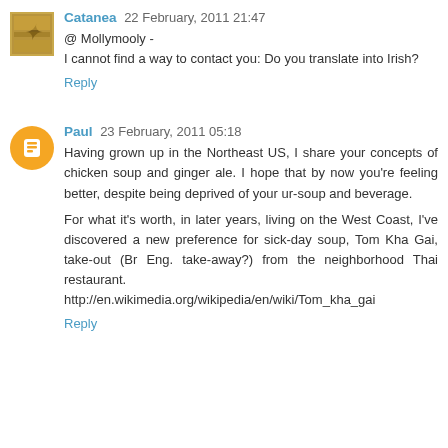Catanea 22 February, 2011 21:47
@ Mollymooly -
I cannot find a way to contact you: Do you translate into Irish?
Reply
Paul 23 February, 2011 05:18
Having grown up in the Northeast US, I share your concepts of chicken soup and ginger ale. I hope that by now you're feeling better, despite being deprived of your ur-soup and beverage.

For what it's worth, in later years, living on the West Coast, I've discovered a new preference for sick-day soup, Tom Kha Gai, take-out (Br Eng. take-away?) from the neighborhood Thai restaurant.
http://en.wikimedia.org/wikipedia/en/wiki/Tom_kha_gai
Reply